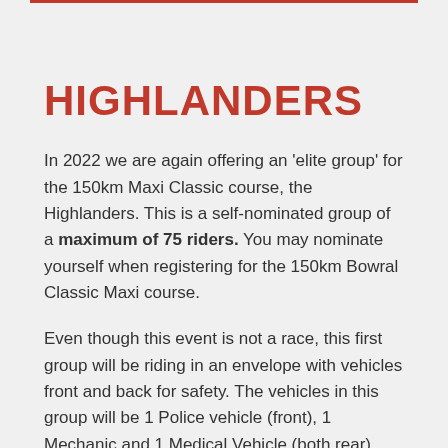HIGHLANDERS
In 2022 we are again offering an 'elite group' for the 150km Maxi Classic course, the Highlanders. This is a self-nominated group of a maximum of 75 riders. You may nominate yourself when registering for the 150km Bowral Classic Maxi course.
Even though this event is not a race, this first group will be riding in an envelope with vehicles front and back for safety. The vehicles in this group will be 1 Police vehicle (front), 1 Mechanic and 1 Medical Vehicle (both rear).